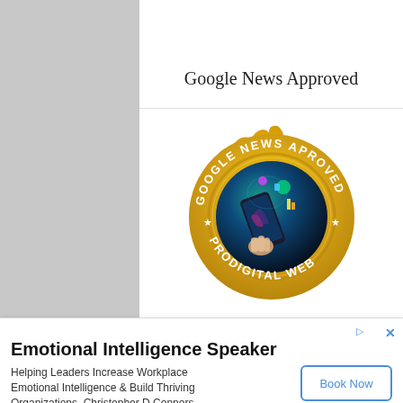Google News Approved
[Figure (illustration): Gold seal badge with text 'GOOGLE NEWS APPROVED' and 'PRODIGITAL WEB' around the edge, with a colorful digital technology image in the center showing a hand holding a smartphone with icons floating above it.]
Emotional Intelligence Speaker
Helping Leaders Increase Workplace Emotional Intelligence & Build Thriving Organizations. Christopher D Connors
Book Now